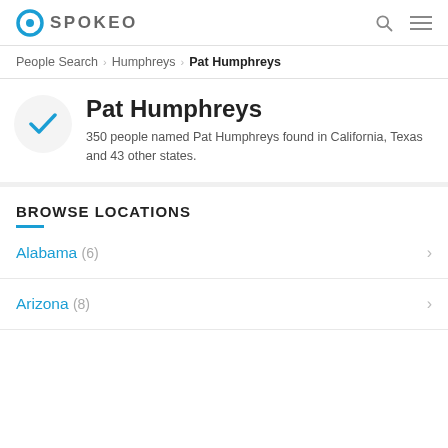SPOKEO
People Search > Humphreys > Pat Humphreys
Pat Humphreys
350 people named Pat Humphreys found in California, Texas and 43 other states.
BROWSE LOCATIONS
Alabama (6)
Arizona (8)